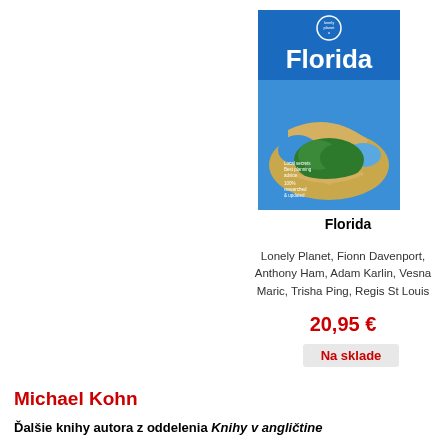[Figure (illustration): Lonely Planet Florida book cover showing aerial photo of a curved sandy peninsula with water and forest, blue background with 'Florida' in large white text and Lonely Planet logo]
Florida
Lonely Planet, Fionn Davenport, Anthony Ham, Adam Karlin, Vesna Maric, Trisha Ping, Regis St Louis
20,95 €
Na sklade
Michael Kohn
Ďalšie knihy autora z oddelenia Knihy v angličtine